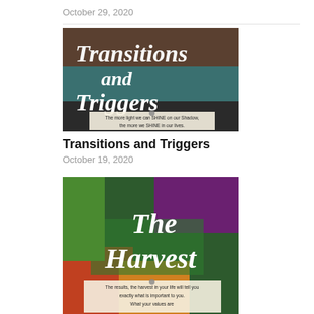October 29, 2020
[Figure (illustration): Book/article cover image with text 'Transitions and Triggers' in white handwritten font over a dark background, with a quote 'The more light we can SHINE on our Shadow, the more we SHINE in our lives.']
Transitions and Triggers
October 19, 2020
[Figure (illustration): Book/article cover image with text 'The Harvest' in white handwritten font over a colorful vegetables/produce background, with a partial quote 'The results, the harvest in your life will tell you exactly what is important to you. What your values are']